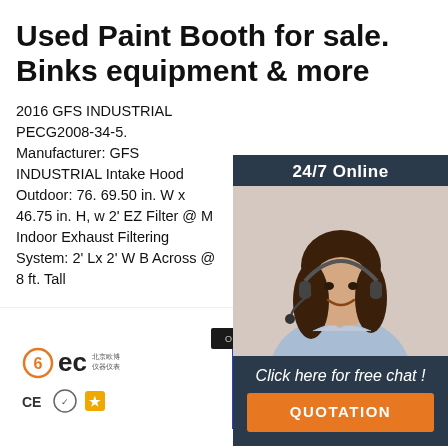Used Paint Booth for sale. Binks equipment & more
2016 GFS INDUSTRIAL PECG2008-34-5. Manufacturer: GFS INDUSTRIAL Intake Hood Outdoor: 76. 69.50 in. W x 46.75 in. H, w 2' EZ Filter @ M Indoor Exhaust Filtering System: 2' Lx 2' W B Across @ 8 ft. Tall
[Figure (other): Orange 'Get Price' button]
[Figure (other): 24/7 Online chat widget with photo of woman wearing headset, 'Click here for free chat!' text and orange QUOTATION button]
[Figure (logo): BEC logo with CE, certification and Alibaba gold supplier badges]
[Figure (other): OBC-55B product with blue cable]
[Figure (other): TOP badge with orange dots arranged in triangle and red TOP text]